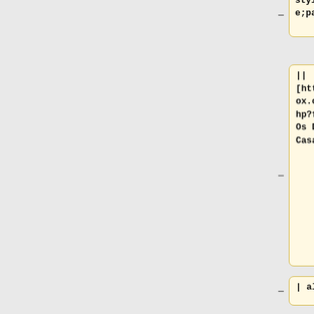– style="border:none;padding:0in;"
|| [https://forum.librivox.org/viewtopic.php?f=28&t=92596 Os Deuses de Casaca]
– | align=center| 14
– | align=center| 10
– | align=center| 71
– | align=center| 5
– | align=center| 36
– | align=center| Open
||
||
|- style="border:none;padding:0in;"
|- style="border:none;padding:0in;"